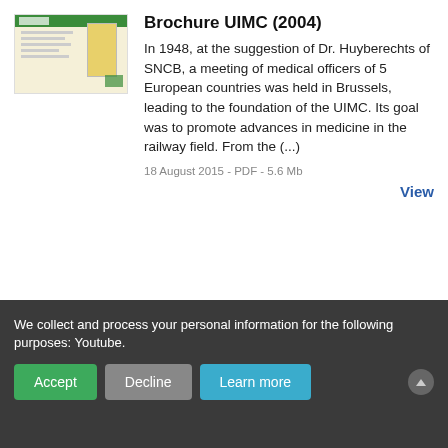[Figure (photo): Thumbnail image of a brochure cover with green header and yellow-toned document]
Brochure UIMC (2004)
In 1948, at the suggestion of Dr. Huyberechts of SNCB, a meeting of medical officers of 5 European countries was held in Brussels, leading to the foundation of the UIMC. Its goal was to promote advances in medicine in the railway field. From the (...)
18 August 2015 - PDF - 5.6 Mb
View
UIMC Medical
We collect and process your personal information for the following purposes: Youtube.
Accept
Decline
Learn more